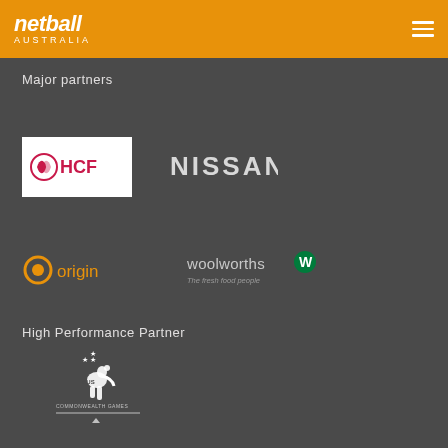netball AUSTRALIA
Major partners
[Figure (logo): HCF logo - white background with pink/red swoosh symbol and HCF text in pink]
[Figure (logo): NISSAN logo in light grey bold sans-serif text]
[Figure (logo): Origin energy logo - orange circle O with origin text in orange]
[Figure (logo): Woolworths logo with green W symbol and text 'The fresh food people']
High Performance Partner
[Figure (logo): Commonwealth Games Australia logo - white kangaroo with stars and text]